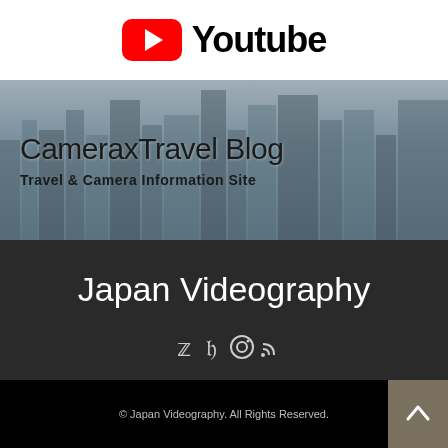[Figure (logo): YouTube logo with red play button icon and 'Youtube' text in black on white background]
[Figure (screenshot): CameraXTravel Blog banner showing city skyline background with text 'CameraxTravel Blog' and subtitle 'Travel & Camera Information Site']
Japan Videography
[Figure (infographic): Social media icons: Twitter, Facebook, Instagram, RSS feed]
Japan Videography運営者 | 撮影地データ | カメラ・機材レビュー | 絶景写真 | 厳選アイテム | フォトブックの作り方 | 世界一周旅行ブログ | 沖縄 | 北海道 | 旅 | English
© Japan Videography. All Rights Reserved.